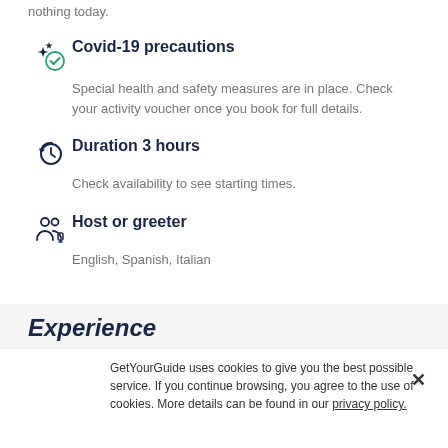nothing today.
Covid-19 precautions
Special health and safety measures are in place. Check your activity voucher once you book for full details.
Duration 3 hours
Check availability to see starting times.
Host or greeter
English, Spanish, Italian
Experience
GetYourGuide uses cookies to give you the best possible service. If you continue browsing, you agree to the use of cookies. More details can be found in our privacy policy.